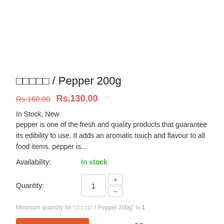□□□□□ / Pepper 200g
Rs.160.00  Rs.130.00
In Stock, New
pepper is one of the fresh and quality products that guarantee its edibility to use. It adds an aromatic touch and flavour to all food items. pepper is...
Availability:   In stock
Quantity: 1
Minimum quantity for '□□□□□ / Pepper 200g" is 1
ADD TO CART   Contact   ♥